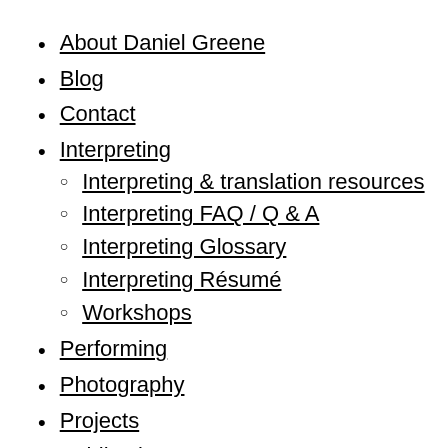About Daniel Greene
Blog
Contact
Interpreting
Interpreting & translation resources
Interpreting FAQ / Q & A
Interpreting Glossary
Interpreting Résumé
Workshops
Performing
Photography
Projects
Publications
Testimonials